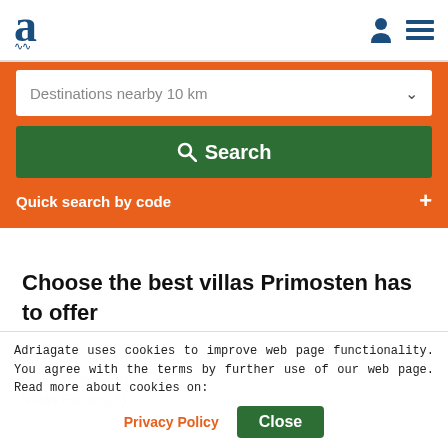Adriagate logo and navigation icons
Destinations nearby 10 km
Search
Quick search by code +
Choose the best villas Primosten has to offer
Villas Vinisce(6)
Villas Razanj(3)
Adriagate uses cookies to improve web page functionality. You agree with the terms by further use of our web page. Read more about cookies on:
Privacy Policy  Close